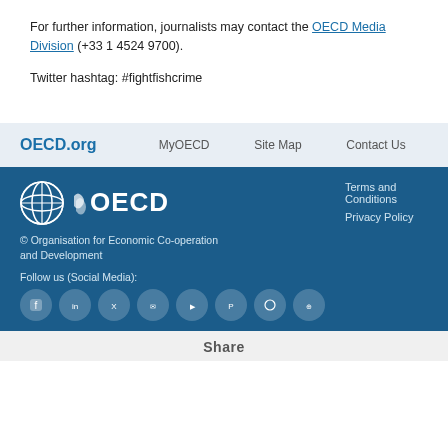For further information, journalists may contact the OECD Media Division (+33 1 4524 9700).
Twitter hashtag: #fightfishcrime
OECD.org  MyOECD  Site Map  Contact Us
[Figure (logo): OECD logo with globe icon and OECD text in white on dark blue background]
© Organisation for Economic Co-operation and Development
Follow us (Social Media):
Terms and Conditions
Privacy Policy
Share